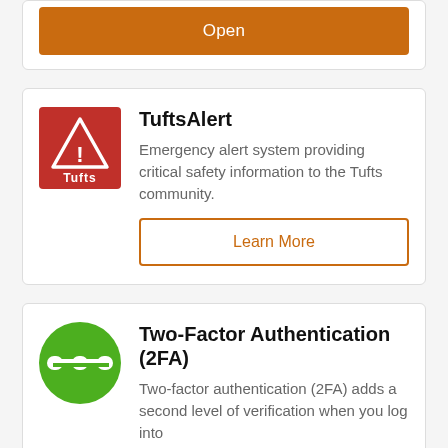[Figure (other): Orange 'Open' button at top of card]
[Figure (logo): TuftsAlert red logo with warning triangle and Tufts text]
TuftsAlert
Emergency alert system providing critical safety information to the Tufts community.
Learn More
[Figure (logo): Duo Security green circle logo]
Two-Factor Authentication (2FA)
Two-factor authentication (2FA) adds a second level of verification when you log into